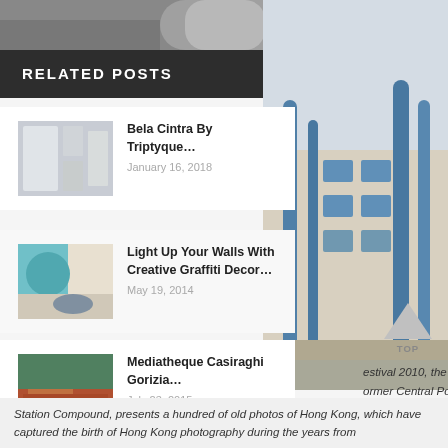[Figure (photo): Top portion of a building/architectural photo, grayscale/muted tones]
RELATED POSTS
[Figure (photo): Building photo on right side — blue columns on light exterior]
Bela Cintra By Triptyque… January 16, 2018
Light Up Your Walls With Creative Graffiti Decor… May 19, 2014
Mediatheque Casiraghi Gorizia… July 23, 2015
Studio 13 By Street & Garden Furniture Co… September 18, 2017
ign Systems Ltd. ated a theme that nds to deliver a closely- rtwined retrospection of n Hong Kong
estival 2010, the "First" ormer Central Police
Station Compound, presents a hundred of old photos of Hong Kong, which have captured the birth of Hong Kong photography during the years from